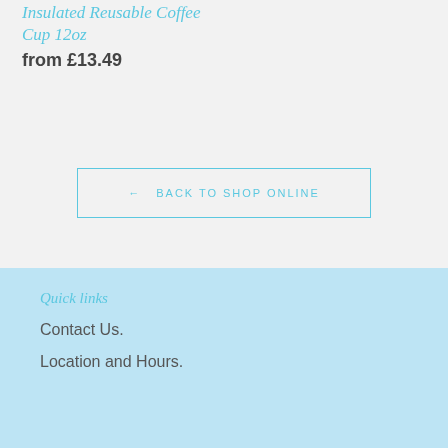Insulated Reusable Coffee Cup 12oz
from £13.49
← BACK TO SHOP ONLINE
Quick links
Contact Us.
Location and Hours.